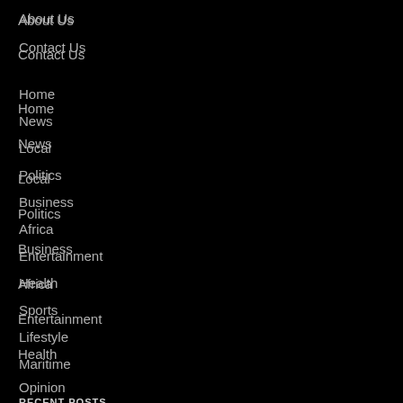About Us
Contact Us
Home
News
Local
Politics
Business
Africa
Entertainment
Health
Sports
Lifestyle
Maritime
Opinion
RECENT POSTS